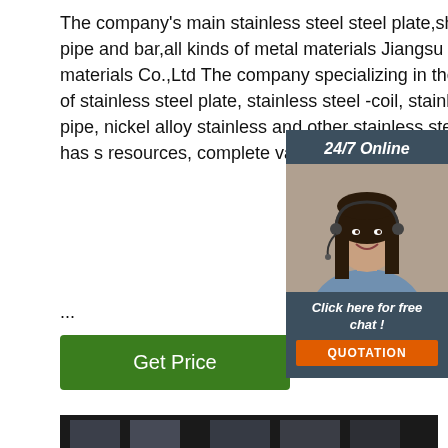The company's main stainless steel steel plate,sheet, tube, pipe and bar,all kinds of metal materials Jiangsu Dongpei materials Co.,Ltd The company specializing in the production of stainless steel plate, stainless steel -coil, stainless steel pipe, nickel alloy stainless and other stainless steel materials, has s resources, complete varieties, large inve ...
[Figure (infographic): 24/7 Online customer service widget with photo of woman wearing headset and 'Click here for free chat!' text plus QUOTATION button]
[Figure (photo): Industrial warehouse interior showing large round steel bars/pipes stacked on the floor with industrial building structure visible in background]